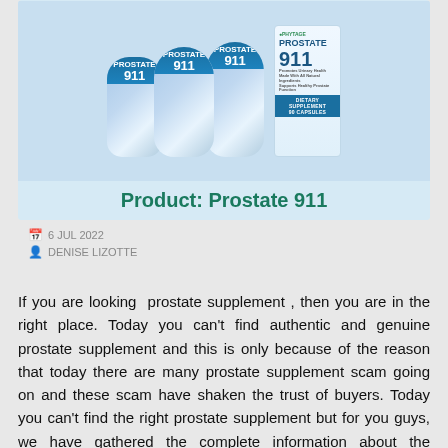[Figure (photo): Product image of Prostate 911 supplement bottles — multiple bottles grouped together on the left and a single bottle on the right, on a light blue background, with text 'Product: Prostate 911' below the bottles.]
6 JUL 2022
DENISE LIZOTTE
If you are looking  prostate supplement , then you are in the right place. Today you can't find authentic and genuine prostate supplement and this is only because of the reason that today there are many prostate supplement scam going on and these scam have shaken the trust of buyers. Today you can't find the right prostate supplement but for you guys, we have gathered the complete information about the prostate 911 supplement. We would recommend you